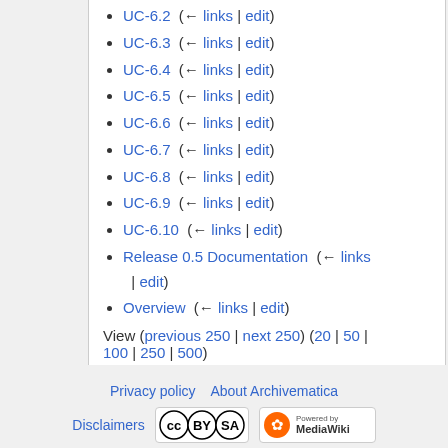UC-6.2  (← links | edit)
UC-6.3  (← links | edit)
UC-6.4  (← links | edit)
UC-6.5  (← links | edit)
UC-6.6  (← links | edit)
UC-6.7  (← links | edit)
UC-6.8  (← links | edit)
UC-6.9  (← links | edit)
UC-6.10  (← links | edit)
Release 0.5 Documentation  (← links | edit)
Overview  (← links | edit)
View (previous 250 | next 250) (20 | 50 | 100 | 250 | 500)
Privacy policy   About Archivematica   Disclaimers